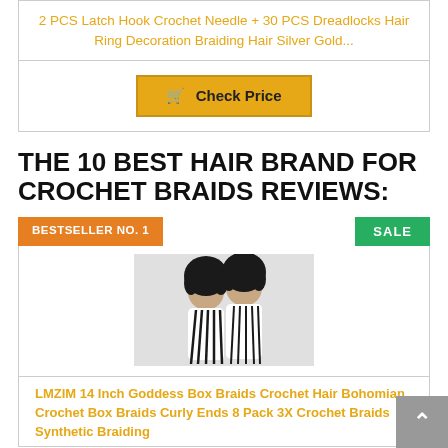2 PCS Latch Hook Crochet Needle + 30 PCS Dreadlocks Hair Ring Decoration Braiding Hair Silver Gold...
Check Price
THE 10 BEST HAIR BRAND FOR CROCHET BRAIDS REVIEWS:
BESTSELLER NO. 1
SALE
[Figure (photo): Photo of two women with crochet braided hair styles]
LMZIM 14 Inch Goddess Box Braids Crochet Hair Bohomian Crochet Box Braids Curly Ends 8 Pack 3X Crochet Braids Synthetic Braiding